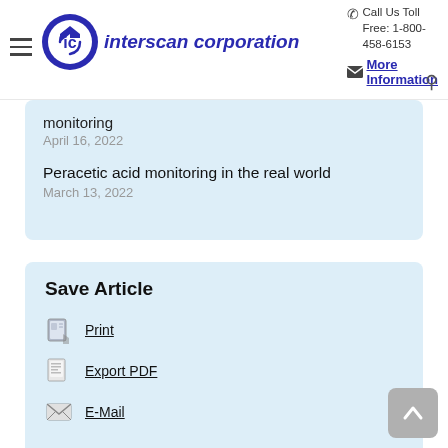[Figure (logo): Interscan Corporation logo with blue circle containing arrows and italic company name]
Call Us Toll Free: 1-800-458-6153
More Information
Monitoring
April 16, 2022
Peracetic acid monitoring in the real world
March 13, 2022
Save Article
Print
Export PDF
E-Mail